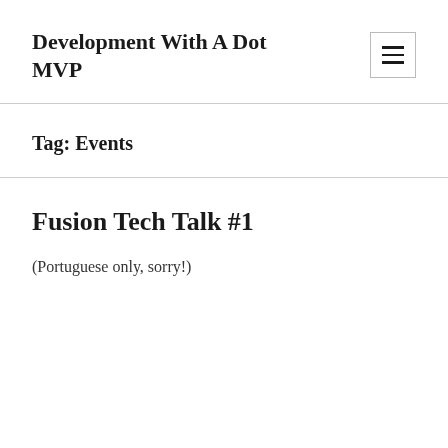Development With A Dot MVP
Tag: Events
Fusion Tech Talk #1
(Portuguese only, sorry!)